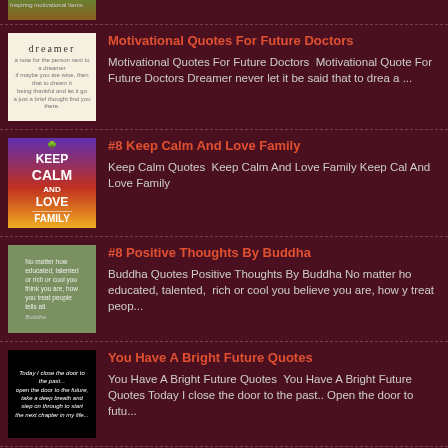[Figure (photo): Partial top image of nature/outdoor scene cropped at top]
[Figure (photo): Dreamer quote image with light beige background and small text]
Motivational Quotes For Future Doctors
Motivational Quotes For Future Doctors  Motivational Quotes For Future Doctors Dreamer never let it be said that to drea a ...
[Figure (photo): Keep Calm And Love Family image with purple-to-orange gradient background]
#8 Keep Calm And Love Family
Keep Calm Quotes  Keep Calm And Love Family Keep Cal And Love Family
[Figure (photo): Buddha with quote on green background]
#8 Positive Thoughts By Buddha
Buddha Quotes Positive Thoughts By Buddha No matter ho educated, talented,  rich or cool you believe you are, how y treat peop...
[Figure (photo): Black background with white italic text quote about closing door to past]
You Have A Bright Future Quotes
You Have A Bright Future Quotes  You Have A Bright Future Quotes Today I close the door to the past.. Open the door to futu...
[Figure (photo): Partial image for Keep Calm And Stay Strong entry]
#5 Keep Calm And Stay Strong